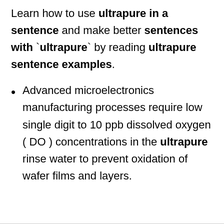Learn how to use ultrapure in a sentence and make better sentences with `ultrapure` by reading ultrapure sentence examples.
Advanced microelectronics manufacturing processes require low single digit to 10 ppb dissolved oxygen ( DO ) concentrations in the ultrapure rinse water to prevent oxidation of wafer films and layers.